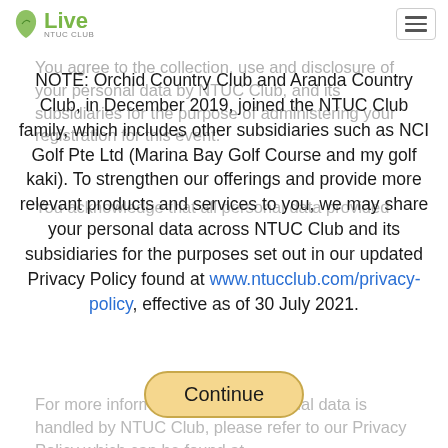U Live NTUC Club
You agree to the collection, use and disclosure of your personal data by NTUC Club, and its subsidiaries for the purpose of administering your registration for this event.
You acknowledge that all personal data provided
NOTE: Orchid Country Club and Aranda Country Club, in December 2019, joined the NTUC Club family, which includes other subsidiaries such as NCI Golf Pte Ltd (Marina Bay Golf Course and my golf kaki). To strengthen our offerings and provide more relevant products and services to you, we may share your personal data across NTUC Club and its subsidiaries for the purposes set out in our updated Privacy Policy found at www.ntucclub.com/privacy-policy, effective as of 30 July 2021.
For more information on how personal data is handled by NTUC Club, please refer to our Privacy Policy which can be found at www.ntucclub.com/privacy-policy, and is incorporated into this Agreement by reference. Please note our privacy policy may be updated from time to time without notice.
Continue